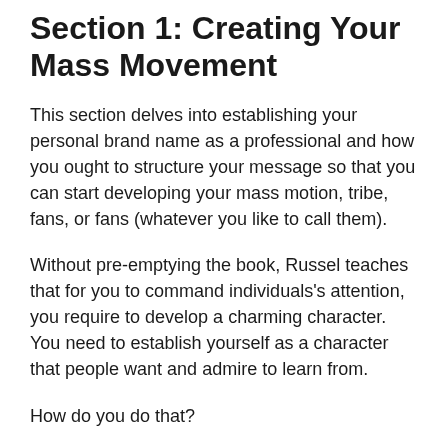Section 1: Creating Your Mass Movement
This section delves into establishing your personal brand name as a professional and how you ought to structure your message so that you can start developing your mass motion, tribe, fans, or fans (whatever you like to call them).
Without pre-emptying the book, Russel teaches that for you to command individuals's attention, you require to develop a charming character. You need to establish yourself as a character that people want and admire to learn from.
How do you do that?